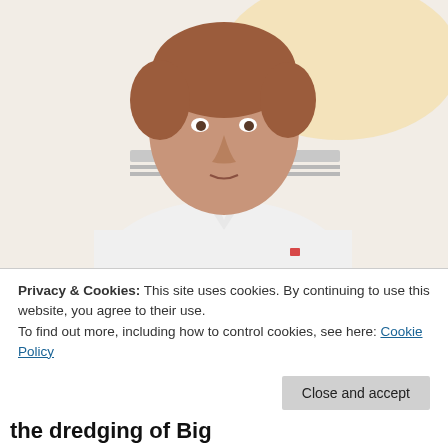[Figure (photo): A middle-aged man with reddish-brown hair wearing a white polo shirt, photographed indoors against a blurred background with warm light.]
Privacy & Cookies: This site uses cookies. By continuing to use this website, you agree to their use.
To find out more, including how to control cookies, see here: Cookie Policy
Close and accept
about two-and-a-half years, is raising money for a lawsuit, if needed, to stop the dredging of Big